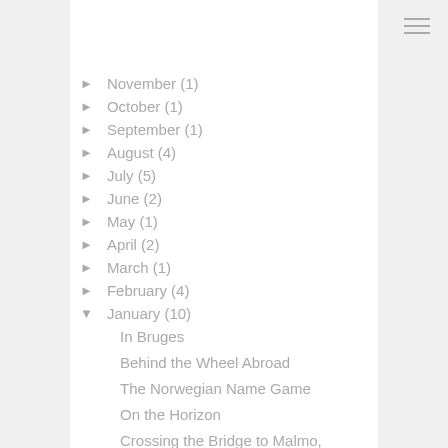► November (1)
► October (1)
► September (1)
► August (4)
► July (5)
► June (2)
► May (1)
► April (2)
► March (1)
► February (4)
▼ January (10)
In Bruges
Behind the Wheel Abroad
The Norwegian Name Game
On the Horizon
Crossing the Bridge to Malmo, Sweden